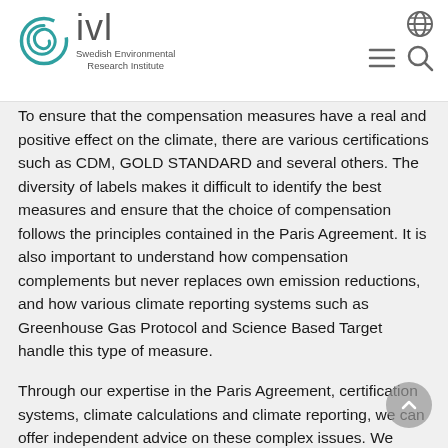IVL Swedish Environmental Research Institute
To ensure that the compensation measures have a real and positive effect on the climate, there are various certifications such as CDM, GOLD STANDARD and several others. The diversity of labels makes it difficult to identify the best measures and ensure that the choice of compensation follows the principles contained in the Paris Agreement. It is also important to understand how compensation complements but never replaces own emission reductions, and how various climate reporting systems such as Greenhouse Gas Protocol and Science Based Target handle this type of measure.
Through our expertise in the Paris Agreement, certification systems, climate calculations and climate reporting, we can offer independent advice on these complex issues. We